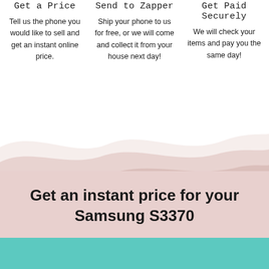Get a Price
Tell us the phone you would like to sell and get an instant online price.
Send to Zapper
Ship your phone to us for free, or we will come and collect it from your house next day!
Get Paid Securely
We will check your items and pay you the same day!
[Figure (illustration): Decorative wave divider with layered pink tones transitioning from white to dusty rose background]
Get an instant price for your Samsung S3370